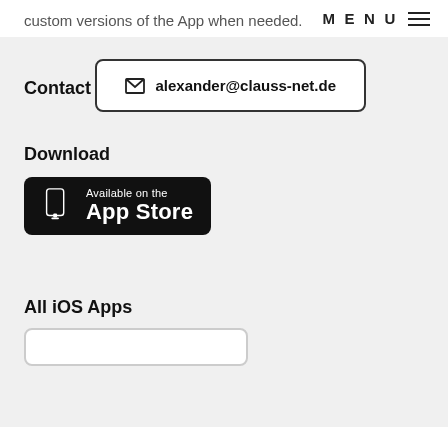custom versions of the App when needed.
MENU
Contact
alexander@clauss-net.de
Download
[Figure (logo): App Store download button badge — black rounded rectangle with phone icon and text 'Available on the App Store']
All iOS Apps